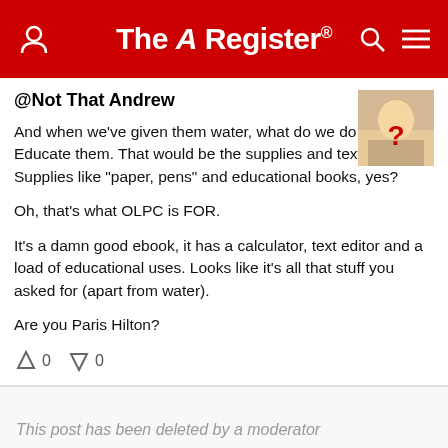The Register
@Not That Andrew
And when we've given them water, what do we do for them? Educate them. That would be the supplies and textbooks. Supplies like "paper, pens" and educational books, yes?

Oh, that's what OLPC is FOR.

It's a damn good ebook, it has a calculator, text editor and a load of educational uses. Looks like it's all that stuff you asked for (apart from water).

Are you Paris Hilton?
↑0   ↓0
This post has been deleted by a moderator